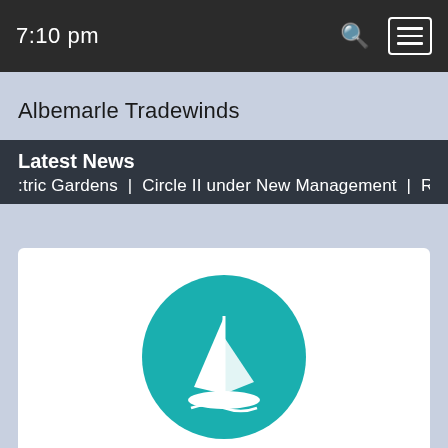7:10 pm
Albemarle Tradewinds
Latest News
tric Gardens  |  Circle II under New Management  |  R
[Figure (logo): Museum of the Albemarle logo: teal circle with white sailboat illustration, text 'MUSEUM OF THE ALBEMARLE' and tagline 'History Happens Here']